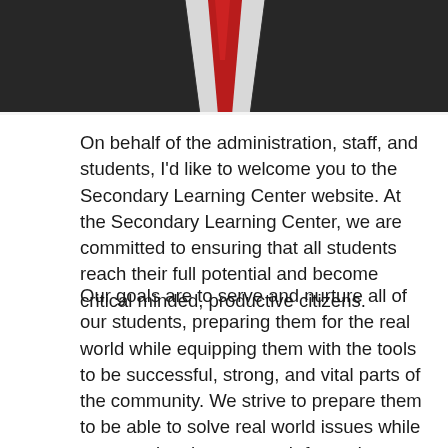[Figure (photo): Partial photo of a person in a dark suit with a red tie, cropped to show only the lower neck/torso area.]
On behalf of the administration, staff, and students, I'd like to welcome you to the Secondary Learning Center website. At the Secondary Learning Center, we are committed to ensuring that all students reach their full potential and become critical minded, productive citizens.
Our goals are to serve and nurture all of our students, preparing them for the real world while equipping them with the tools to be successful, strong, and vital parts of the community. We strive to prepare them to be able to solve real world issues while empowering them to reach for and ultimately achieve their personal, professional, and educational goals.